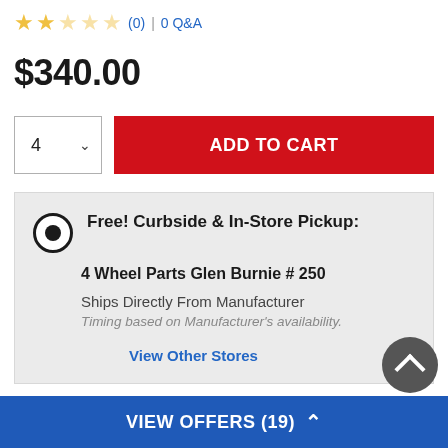★★☆☆☆ (0) | 0 Q&A
$340.00
4  ADD TO CART
Free! Curbside & In-Store Pickup:
4 Wheel Parts Glen Burnie # 250
Ships Directly From Manufacturer
Timing based on Manufacturer's availability.
View Other Stores
Ship to Home
VIEW OFFERS (19)